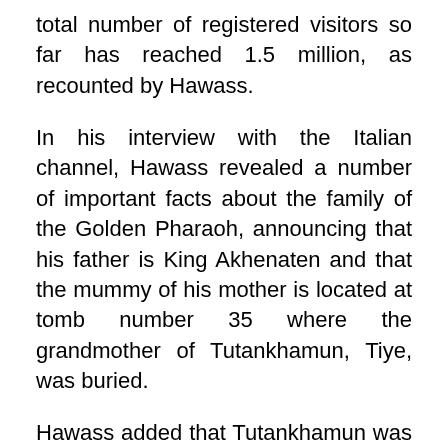total number of registered visitors so far has reached 1.5 million, as recounted by Hawass.
In his interview with the Italian channel, Hawass revealed a number of important facts about the family of the Golden Pharaoh, announcing that his father is King Akhenaten and that the mummy of his mother is located at tomb number 35 where the grandmother of Tutankhamun, Tiye, was buried.
Hawass added that Tutankhamun was suffering from lack of blood reaching the feet, flatfoot and malaria.
Tutankhamun was born in the 18th Dynasty, around 1341 B.C., and was the 12th pharaoh of that period.